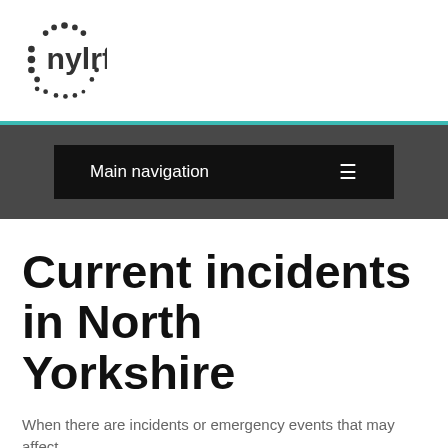[Figure (logo): nylrf logo with circular dot pattern and text 'nylrf']
Main navigation
Current incidents in North Yorkshire
When there are incidents or emergency events that may affect